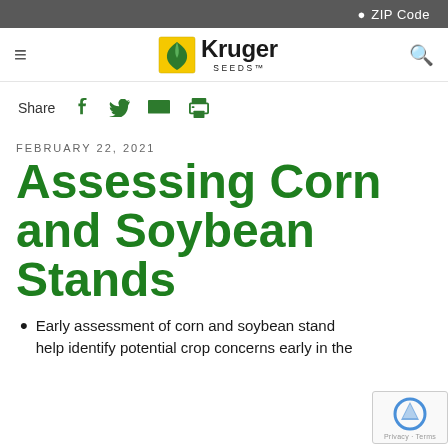ZIP Code
[Figure (logo): Kruger Seeds logo with green leaf icon and hamburger menu and search icon]
Share
FEBRUARY 22, 2021
Assessing Corn and Soybean Stands
Early assessment of corn and soybean stands help identify potential crop concerns early in the